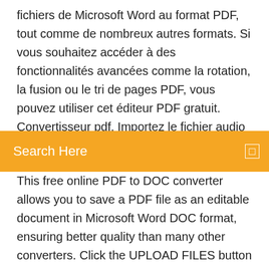fichiers de Microsoft Word au format PDF, tout comme de nombreux autres formats. Si vous souhaitez accéder à des fonctionnalités avancées comme la rotation, la fusion ou le tri de pages PDF, vous pouvez utiliser cet éditeur PDF gratuit. Convertisseur pdf. Importez le fichier audio que vous voulez convertir en PDF Convert PDF to Word - Free Online PDF to
Search Here
This free online PDF to DOC converter allows you to save a PDF file as an editable document in Microsoft Word DOC format, ensuring better quality than many other converters. Click the UPLOAD FILES button and select up to 20 PDF files you wish to convert. Convertir PDF en Word en ligne 100% gratuit - Sans Email Convertisseur gratuit de PDF à Word sans limitation. 100% sûr et anonyme. Vous n'avez pas besoin de passer d'informations personnelles. Email n'est requis. Convertissez des fichiers PDF gratuitement et anonymement avec EasyPDF. Vos conversions sont sécurisées et les fichiers convertis sont